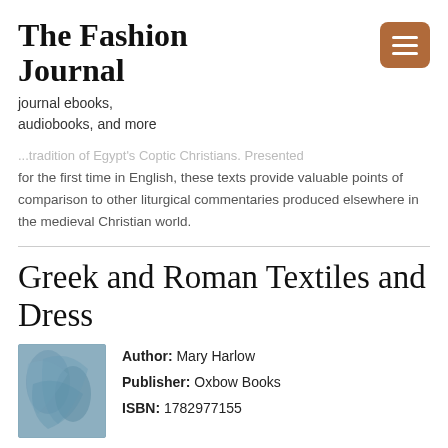The Fashion Journal
journal ebooks, audiobooks, and more
...tradition of Egypt's Coptic Christians. Presented for the first time in English, these texts provide valuable points of comparison to other liturgical commentaries produced elsewhere in the medieval Christian world.
Greek and Roman Textiles and Dress
[Figure (photo): Book cover image showing draped fabric in blue-gray tones]
Author: Mary Harlow
Publisher: Oxbow Books
ISBN: 1782977155